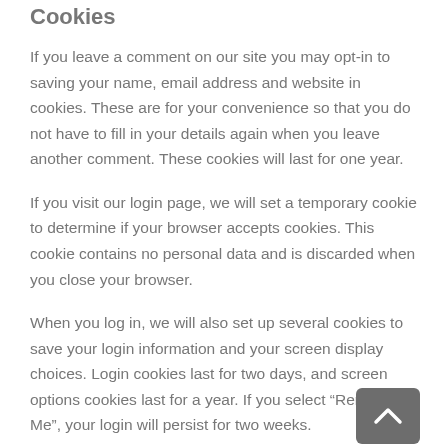Cookies
If you leave a comment on our site you may opt-in to saving your name, email address and website in cookies. These are for your convenience so that you do not have to fill in your details again when you leave another comment. These cookies will last for one year.
If you visit our login page, we will set a temporary cookie to determine if your browser accepts cookies. This cookie contains no personal data and is discarded when you close your browser.
When you log in, we will also set up several cookies to save your login information and your screen display choices. Login cookies last for two days, and screen options cookies last for a year. If you select “Remember Me”, your login will persist for two weeks.